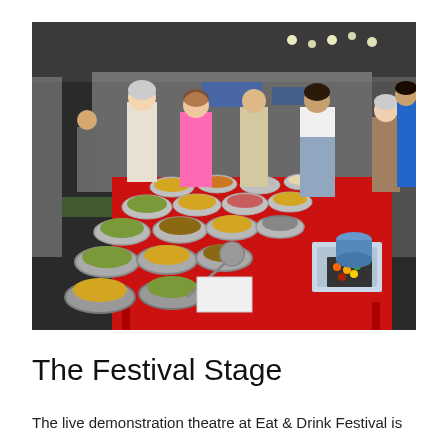[Figure (photo): A food market stall inside a large exhibition hall. A red-tablecloth-covered table displays numerous silver bowls filled with various olives, pickles, and other food items. A vendor in a striped apron stands behind the table serving customers. Several visitors browse the stall. The background shows the large interior of a convention centre with other stalls visible.]
The Festival Stage
The live demonstration theatre at Eat & Drink Festival is